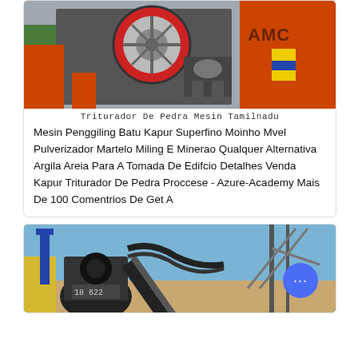[Figure (photo): Industrial jaw crusher machine with red flywheel and orange frame, AMC branding visible, industrial equipment exhibition or factory setting]
Triturador De Pedra Mesin Tamilnadu
Mesin Penggiling Batu Kapur Superfino Moinho Mvel Pulverizador Martelo Miling E Minerao Qualquer Alternativa Argila Areia Para A Tomada De Edifcio Detalhes Venda Kapur Triturador De Pedra Proccese - Azure-Academy Mais De 100 Comentrios De Get A
[Figure (photo): Mining conveyor and crushing equipment at industrial port or quarry site, dark machinery with extended conveyor belt at angle, blue sky background, chat bubble button overlay]